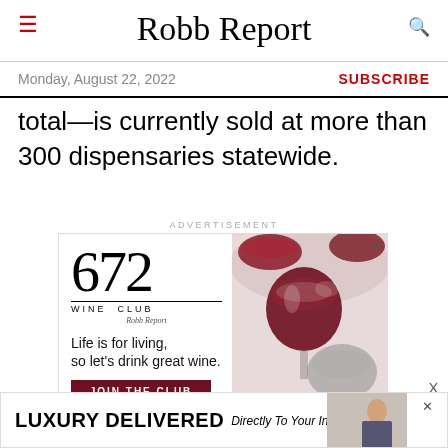Robb Report
Monday, August 22, 2022
SUBSCRIBE
total—is currently sold at more than 300 dispensaries statewide.
ADVERTISEMENT
[Figure (illustration): 672 Wine Club by Robb Report advertisement with wine glasses photo, tagline 'Life is for living, so let's drink great wine.' and JOIN THE CLUB button]
[Figure (illustration): LUXURY DELIVERED Directly To Your Inbox bottom advertisement banner with man in suit]